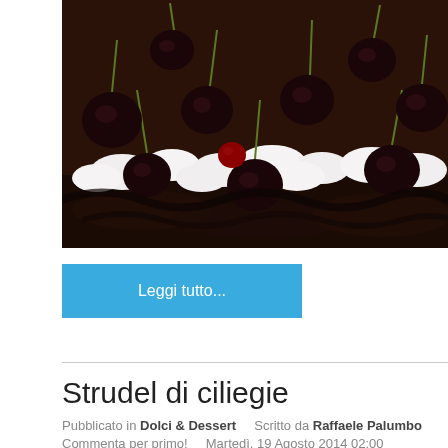[Figure (photo): Close-up photograph of cherries dipped in chocolate sauce arranged on whipped cream over a dark chocolate cake.]
Leggi tutto...
Strudel di ciliegie
Pubblicato in Dolci & Dessert   Scritto da Raffaele Palumbo
Commenta per primo!   Martedì, 19 Agosto 2014 02:00